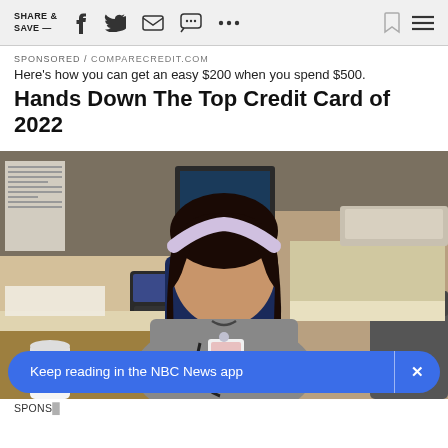SHARE & SAVE —
SPONSORED / COMPARECREDIT.COM
Here's how you can get an easy $200 when you spend $500.
Hands Down The Top Credit Card of 2022
[Figure (photo): A woman in gray scrubs wearing a stethoscope and ID badge, sitting at a medical office desk with a computer monitor, phone, and papers visible. She has long dark wavy hair and a patterned headband. A cup and a trash can labeled STICU are visible on the right.]
Keep reading in the NBC News app
SPONSO